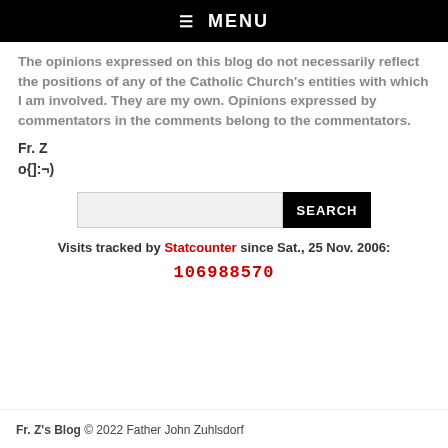☰ MENU
The opinions expressed on this blog do not necessarily reflect the positions of any of the Catholic Church's entities with which I am involved. They are my own. Opinions expressed by commentators in the comments belong to the commentators.
Fr. Z
o{]:¬)
[Figure (other): Search input field with SEARCH button]
Visits tracked by Statcounter since Sat., 25 Nov. 2006:
106988570
Fr. Z's Blog © 2022 Father John Zuhlsdorf